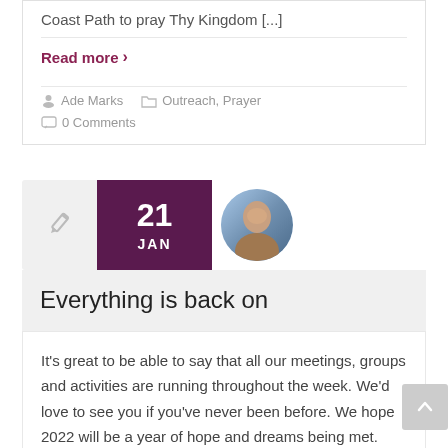Coast Path to pray Thy Kingdom [...]
Read more ›
Ade Marks    Outreach, Prayer
0 Comments
21 JAN
Everything is back on
It's great to be able to say that all our meetings, groups and activities are running throughout the week. We'd love to see you if you've never been before. We hope 2022 will be a year of hope and dreams being met. Seize the day!